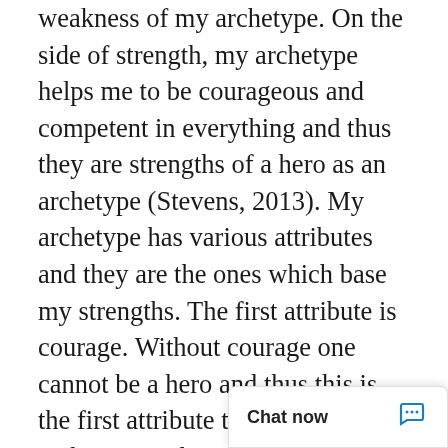battle to fight and I came to realize that it is a weakness of my archetype. On the side of strength, my archetype helps me to be courageous and competent in everything and thus they are strengths of a hero as an archetype (Stevens, 2013). My archetype has various attributes and they are the ones which base my strengths. The first attribute is courage. Without courage one cannot be a hero and thus this is the first attribute that shapes my archetype and my general personality. The next attribute is strength where the archetype requires one to have mental, physical and emotional strength. Finally, competence is the last key attribute of a hero as an archetype. This is the foundat personality. This a